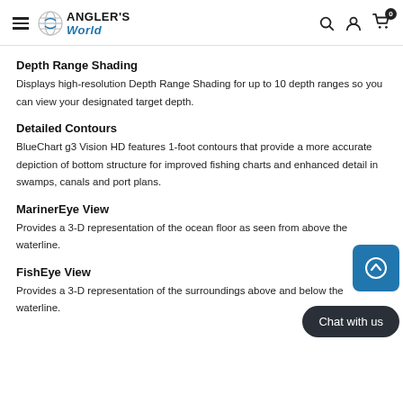ANGLER'S World — navigation header with hamburger menu, logo, search, account, and cart icons
Depth Range Shading
Displays high-resolution Depth Range Shading for up to 10 depth ranges so you can view your designated target depth.
Detailed Contours
BlueChart g3 Vision HD features 1-foot contours that provide a more accurate depiction of bottom structure for improved fishing charts and enhanced detail in swamps, canals and port plans.
MarinerEye View
Provides a 3-D representation of the ocean floor as seen from above the waterline.
FishEye View
Provides a 3-D representation of the surroundings above and below the waterline.